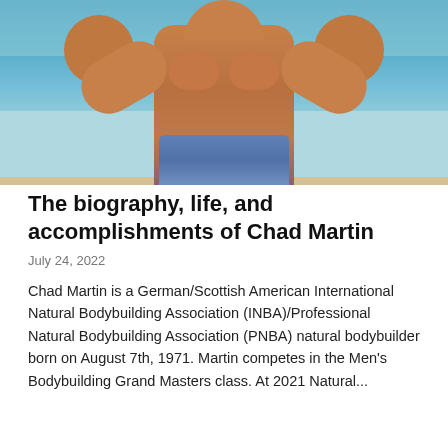[Figure (photo): A muscular shirtless male bodybuilder posing on a beach with arms raised, blue ocean waves visible in the background, wearing blue shorts]
The biography, life, and accomplishments of Chad Martin
July 24, 2022
Chad Martin is a German/Scottish American International Natural Bodybuilding Association (INBA)/Professional Natural Bodybuilding Association (PNBA) natural bodybuilder born on August 7th, 1971. Martin competes in the Men's Bodybuilding Grand Masters class. At 2021 Natural...